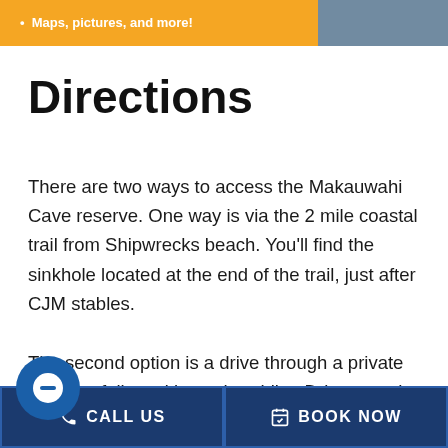Maps, pictures, and more!
Directions
There are two ways to access the Makauwahi Cave reserve. One way is via the 2 mile coastal trail from Shipwrecks beach. You'll find the sinkhole located at the end of the trail, just after CJM stables.
The second option is a drive through a private property followed by a short hike. Drive past the Hyatt on Poipu R... e road turns to dirt by the golf course. Go
CALL US   BOOK NOW